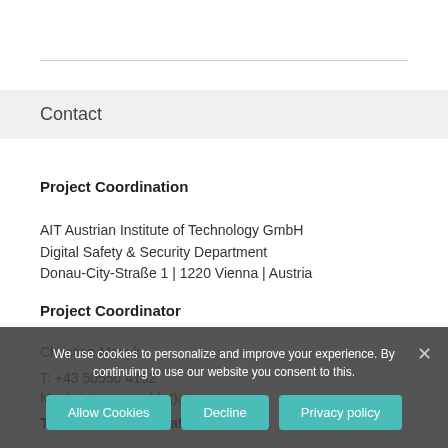Contact
Project Coordination
AIT Austrian Institute of Technology GmbH
Digital Safety & Security Department
Donau-City-Straße 1 | 1220 Vienna | Austria
Project Coordinator
Christian Monyk
T: +43 50550 4152
M: christian.monyk(et)ait.ac.at
Technical Coordinator
We use cookies to personalize and improve your experience. By continuing to use our website you consent to this.